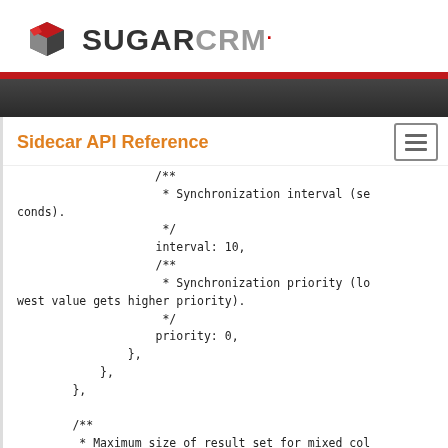[Figure (logo): SugarCRM logo with cube icon and bold SUGARCRM text]
Sidecar API Reference
/**
 * Synchronization interval (seconds).
 */
interval: 10,
/**
 * Synchronization priority (lowest value gets higher priority).
 */
priority: 0,
        },
    },
},

/**
 * Maximum size of result set for mixed collection (search).